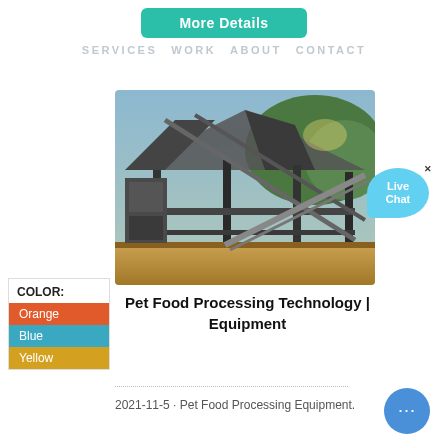More Details
SERVICES  WORK  ABOUT  CONTACT
[Figure (photo): Industrial pet food processing equipment facility with metal framework, conveyor structures, and wooden platform.]
Pet Food Processing Technology | Equipment
COLOR:
Orange
Blue
Yellow
Live Chat
2021-11-5 · Pet Food Processing Equipment.